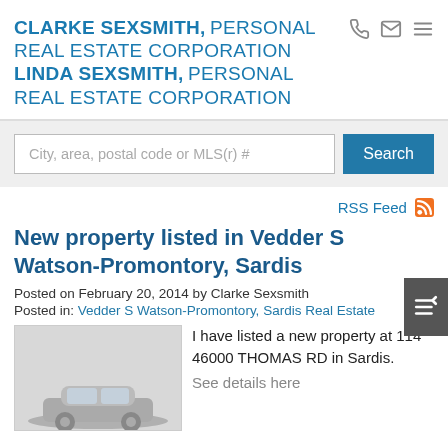CLARKE SEXSMITH, PERSONAL REAL ESTATE CORPORATION
LINDA SEXSMITH, PERSONAL REAL ESTATE CORPORATION
City, area, postal code or MLS(r) #
RSS Feed
New property listed in Vedder S Watson-Promontory, Sardis
Posted on February 20, 2014 by Clarke Sexsmith
Posted in: Vedder S Watson-Promontory, Sardis Real Estate
[Figure (photo): Thumbnail photo of property at 114 46000 Thomas Rd, Sardis]
I have listed a new property at 114 46000 THOMAS RD in Sardis.
See details here